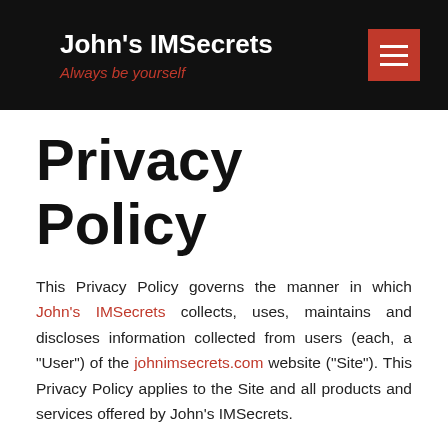John's IMSecrets — Always be yourself
Privacy Policy
This Privacy Policy governs the manner in which John's IMSecrets collects, uses, maintains and discloses information collected from users (each, a "User") of the johnimsecrets.com website ("Site"). This Privacy Policy applies to the Site and all products and services offered by John's IMSecrets.